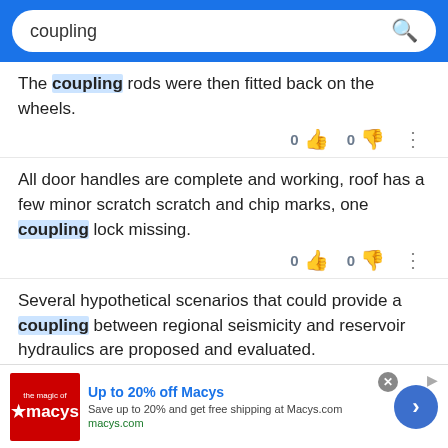coupling (search bar)
The coupling rods were then fitted back on the wheels.
All door handles are complete and working, roof has a few minor scratch scratch and chip marks, one coupling lock missing.
Several hypothetical scenarios that could provide a coupling between regional seismicity and reservoir hydraulics are proposed and evaluated.
[Figure (screenshot): Macy's advertisement banner at bottom: Up to 20% off Macys, Save up to 20% and get free shipping at Macys.com, macys.com]